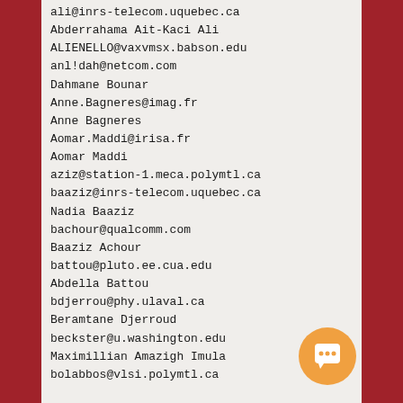ali@inrs-telecom.uquebec.ca
Abderrahama Ait-Kaci Ali
ALIENELLO@vaxvmsx.babson.edu
anl!dah@netcom.com
Dahmane Bounar
Anne.Bagneres@imag.fr
Anne Bagneres
Aomar.Maddi@irisa.fr
Aomar Maddi
aziz@station-1.meca.polymtl.ca
baaziz@inrs-telecom.uquebec.ca
Nadia Baaziz
bachour@qualcomm.com
Baaziz Achour
battou@pluto.ee.cua.edu
Abdella Battou
bdjerrou@phy.ulaval.ca
Beramtane Djerroud
beckster@u.washington.edu
Maximillian Amazigh Imula
bolabbos@vlsi.polymtl.ca